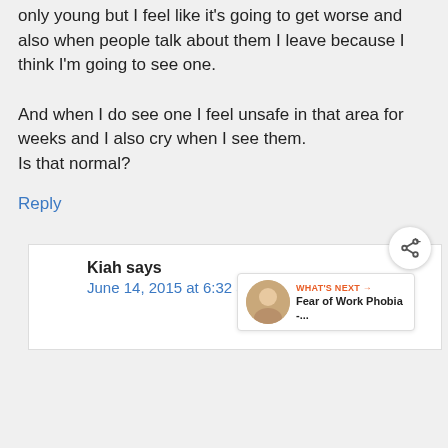only young but I feel like it's going to get worse and also when people talk about them I leave because I think I'm going to see one.

And when I do see one I feel unsafe in that area for weeks and I also cry when I see them.
Is that normal?
Reply
Kiah says
June 14, 2015 at 6:32 am